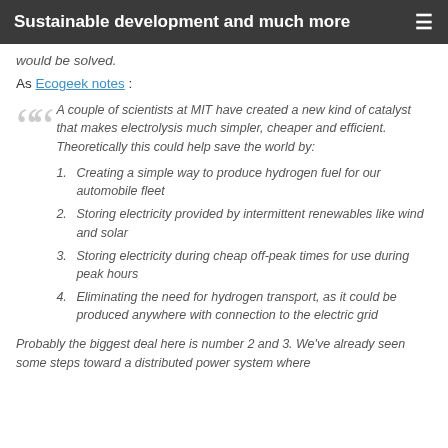Sustainable development and much more
would be solved.
As Ecogeek notes :
A couple of scientists at MIT have created a new kind of catalyst that makes electrolysis much simpler, cheaper and efficient. Theoretically this could help save the world by:
Creating a simple way to produce hydrogen fuel for our automobile fleet
Storing electricity provided by intermittent renewables like wind and solar
Storing electricity during cheap off-peak times for use during peak hours
Eliminating the need for hydrogen transport, as it could be produced anywhere with connection to the electric grid
Probably the biggest deal here is number 2 and 3. We've already seen some steps toward a distributed power system where